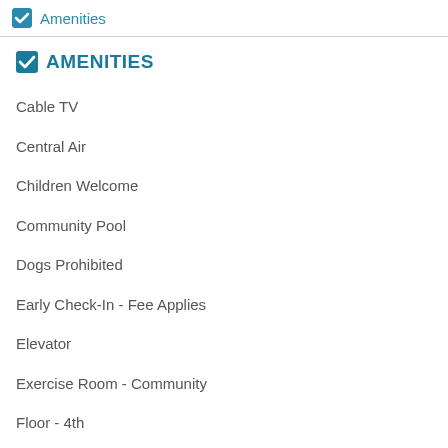Amenities
AMENITIES
Cable TV
Central Air
Children Welcome
Community Pool
Dogs Prohibited
Early Check-In - Fee Applies
Elevator
Exercise Room - Community
Floor - 4th